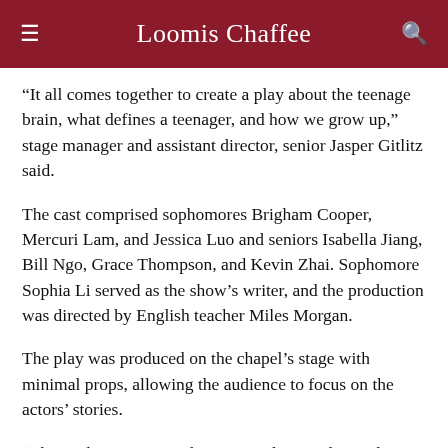Loomis Chaffee
“It all comes together to create a play about the teenage brain, what defines a teenager, and how we grow up,” stage manager and assistant director, senior Jasper Gitlitz said.
The cast comprised sophomores Brigham Cooper, Mercuri Lam, and Jessica Luo and seniors Isabella Jiang, Bill Ngo, Grace Thompson, and Kevin Zhai. Sophomore Sophia Li served as the show’s writer, and the production was directed by English teacher Miles Morgan.
The play was produced on the chapel’s stage with minimal props, allowing the audience to focus on the actors’ stories.
“The students impressed me every day,” Miles said.
“Our show relied on the cast’s creativity as writers and